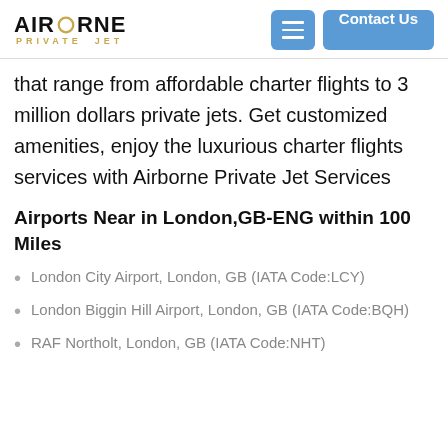AIRBORNE PRIVATE JET
that range from affordable charter flights to 3 million dollars private jets. Get customized amenities, enjoy the luxurious charter flights services with Airborne Private Jet Services
Airports Near in London,GB-ENG within 100 Miles
London City Airport, London, GB (IATA Code:LCY)
London Biggin Hill Airport, London, GB (IATA Code:BQH)
RAF Northolt, London, GB (IATA Code:NHT)